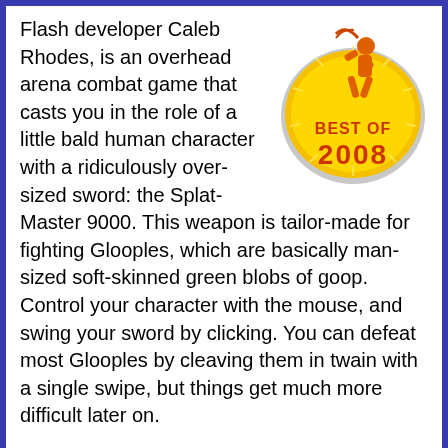[Figure (illustration): A gold medallion badge with an orange running figure and text 'BEST OF 2008']
Flash developer Caleb Rhodes, is an overhead arena combat game that casts you in the role of a little bald human character with a ridiculously over-sized sword: the Splat-Master 9000. This weapon is tailor-made for fighting Glooples, which are basically man-sized soft-skinned green blobs of goop. Control your character with the mouse, and swing your sword by clicking. You can defeat most Glooples by cleaving them in twain with a single swipe, but things get much more difficult later on.
There are two main play modes. In "Single Nest", you must destroy a certain quota of Glooples. The smallest nest is composed of 200 enemies, which is already a pretty significant challenge, while the huge 500-